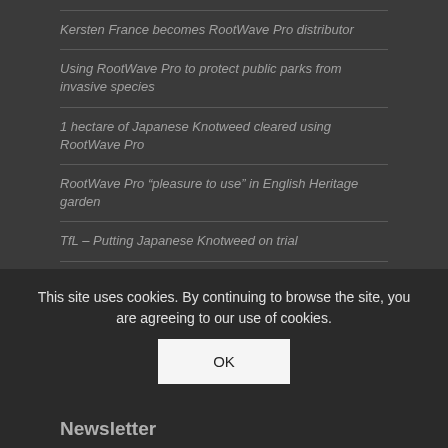Kersten France becomes RootWave Pro distributor
Using RootWave Pro to protect public parks from invasive species
1 hectare of Japanese Knotweed cleared using RootWave Pro
RootWave Pro “pleasure to use” in English Heritage garden
TfL – Putting Japanese Knotweed on trial
Team stories: Why I joined RootWave – Naveen Maruthachalam
Twitter
Tweets by RootWave
This site uses cookies. By continuing to browse the site, you are agreeing to our use of cookies.
OK
Newsletter